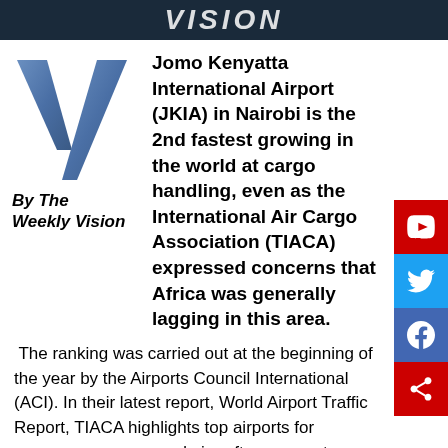VISION
[Figure (logo): Large blue stylized letter V drop cap]
By The Weekly Vision
Jomo Kenyatta International Airport (JKIA) in Nairobi is the 2nd fastest growing in the world at cargo handling, even as the International Air Cargo Association (TIACA) expressed concerns that Africa was generally lagging in this area.
The ranking was carried out at the beginning of the year by the Airports Council International (ACI). In their latest report, World Airport Traffic Report, TIACA highlights top airports for passengers, cargo and aircraft movements, showcasing the world's fastest-growing airports. In the report, JKIA was ranked 2nd as the 'Fastest Growing Airport